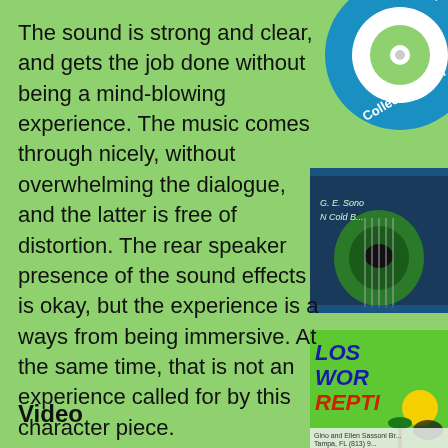The sound is strong and clear, and gets the job done without being a mind-blowing experience. The music comes through nicely, without overwhelming the dialogue, and the latter is free of distortion. The rear speaker presence of the sound effects is okay, but the experience is a ways from being immersive. At the same time, that is not an experience called for by this character piece.
[Figure (logo): Collectorzz.com circular logo in blue and green with a CD icon]
[Figure (photo): Close-up photo of a green guitar/music item with text G.E. Sono and N Cold B]
[Figure (logo): Lost World Reptiles logo with palm trees and dinosaurs, text: Gino and Ellen Sassoni Br... Tampa, FL (813) 9...]
Video